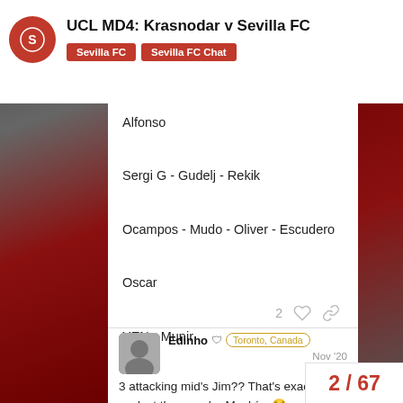UCL MD4: Krasnodar v Sevilla FC | Sevilla FC | Sevilla FC Chat
Alfonso

Sergi G - Gudelj - Rekik

Ocampos - Mudo - Oliver - Escudero

Oscar

YEN - Munir
Edinho  Toronto, Canada  Nov '20
3 attacking mid's Jim?? That's exactly why we lost there under Machín. 😂
2 / 67